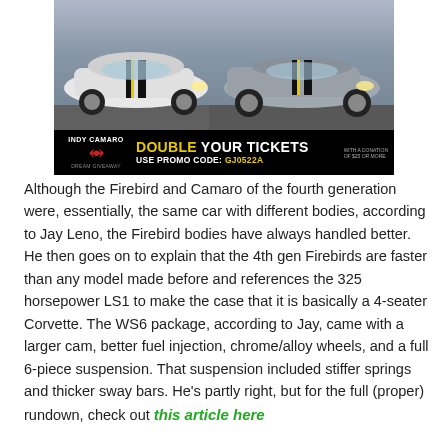[Figure (photo): Advertisement for Indy Camaro showing two Chevrolet Camaro convertibles (white and silver with yellow/black racing stripes) parked outdoors, with a black banner below reading 'DOUBLE YOUR TICKETS - USE PROMO CODE: GJ0522A' and the Indy Camaro logo with wings.]
Although the Firebird and Camaro of the fourth generation were, essentially, the same car with different bodies, according to Jay Leno, the Firebird bodies have always handled better. He then goes on to explain that the 4th gen Firebirds are faster than any model made before and references the 325 horsepower LS1 to make the case that it is basically a 4-seater Corvette. The WS6 package, according to Jay, came with a larger cam, better fuel injection, chrome/alloy wheels, and a full 6-piece suspension. That suspension included stiffer springs and thicker sway bars. He's partly right, but for the full (proper) rundown, check out this article here